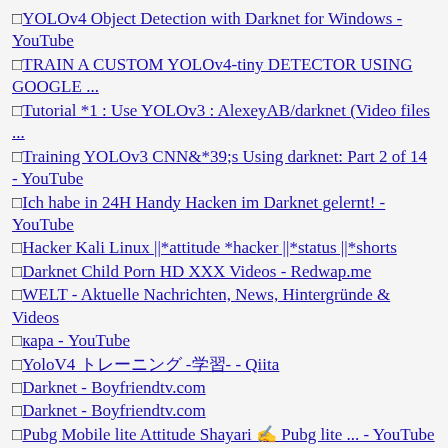□YOLOv4 Object Detection with Darknet for Windows - YouTube
□TRAIN A CUSTOM YOLOv4-tiny DETECTOR USING GOOGLE ...
□Tutorial *1 : Use YOLOv3 : AlexeyAB/darknet (Video files ...
□Training YOLOv3 CNN&*39;s Using darknet: Part 2 of 14 - YouTube
□Ich habe in 24H Handy Hacken im Darknet gelernt! - YouTube
□Hacker Kali Linux ||*attitude *hacker ||*status ||*shorts
□Darknet Child Porn HD XXX Videos - Redwap.me
□WELT - Aktuelle Nachrichten, News, Hintergründe & Videos
□кара - YouTube
□YoloV4 トレーニング -学習- - Qiita
□Darknet - Boyfriendtv.com
□Darknet - Boyfriendtv.com
□Pubg Mobile lite Attitude Shayari ✍ Pubg lite ... - YouTube
□One Mistake Took Down this 29-Yr-Old Dark Web Drug Lord
□Rakhi Secret Really Coming After Adil Khan Exposed ...